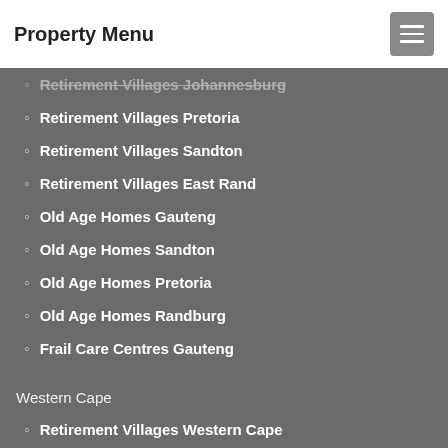Property Menu
Retirement Villages Johannesburg
Retirement Villages Pretoria
Retirement Villages Sandton
Retirement Villages East Rand
Old Age Homes Gauteng
Old Age Homes Sandton
Old Age Homes Pretoria
Old Age Homes Randburg
Frail Care Centres Gauteng
Western Cape
Retirement Villages Western Cape
Old Age Homes Western Cape
Frail Care Centres Western Cape